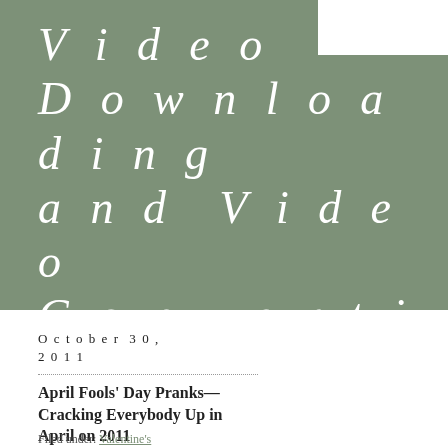Video Downloading and Video Converting Free Zone
October 30, 2011
April Fools' Day Pranks—Cracking Everybody Up in April on 2011
Filed under: Valentine's